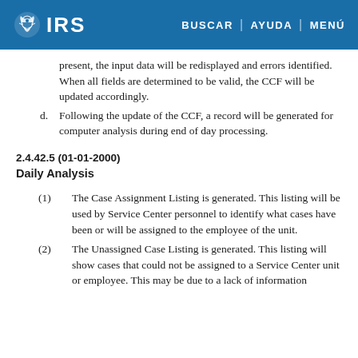IRS | BUSCAR | AYUDA | MENÚ
present, the input data will be redisplayed and errors identified. When all fields are determined to be valid, the CCF will be updated accordingly.
d. Following the update of the CCF, a record will be generated for computer analysis during end of day processing.
2.4.42.5 (01-01-2000)
Daily Analysis
(1) The Case Assignment Listing is generated. This listing will be used by Service Center personnel to identify what cases have been or will be assigned to the employee of the unit.
(2) The Unassigned Case Listing is generated. This listing will show cases that could not be assigned to a Service Center unit or employee. This may be due to a lack of information